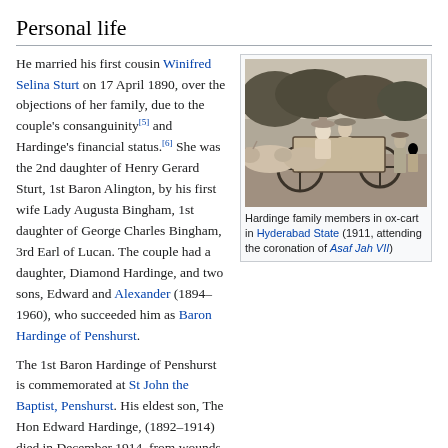Personal life
He married his first cousin Winifred Selina Sturt on 17 April 1890, over the objections of her family, due to the couple's consanguinity[5] and Hardinge's financial status.[6] She was the 2nd daughter of Henry Gerard Sturt, 1st Baron Alington, by his first wife Lady Augusta Bingham, 1st daughter of George Charles Bingham, 3rd Earl of Lucan. The couple had a daughter, Diamond Hardinge, and two sons, Edward and Alexander (1894–1960), who succeeded him as Baron Hardinge of Penshurst.
[Figure (photo): Black and white photograph of Hardinge family members in an ox-cart in Hyderabad State, 1911, attending the coronation of Asaf Jah VII]
Hardinge family members in ox-cart in Hyderabad State (1911, attending the coronation of Asaf Jah VII)
The 1st Baron Hardinge of Penshurst is commemorated at St John the Baptist, Penshurst. His eldest son, The Hon Edward Hardinge, (1892–1914) died in December 1914, from wounds received in battle in France. Diamond Hardinge was a bridesmaid at the